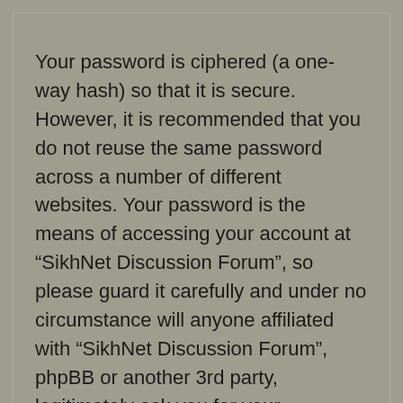Your password is ciphered (a one-way hash) so that it is secure. However, it is recommended that you do not reuse the same password across a number of different websites. Your password is the means of accessing your account at “SikhNet Discussion Forum”, so please guard it carefully and under no circumstance will anyone affiliated with “SikhNet Discussion Forum”, phpBB or another 3rd party, legitimately ask you for your password. Should you forget your password for your account, you can use the “I forgot my password” feature provided by the phpBB software. This process will ask you to submit your user name and your email, then the phpBB software will generate a new password to reclaim your account.
Contact us | Delete cookies | All times are UTC-06:00
Privacy | Terms | Forum Guidelines